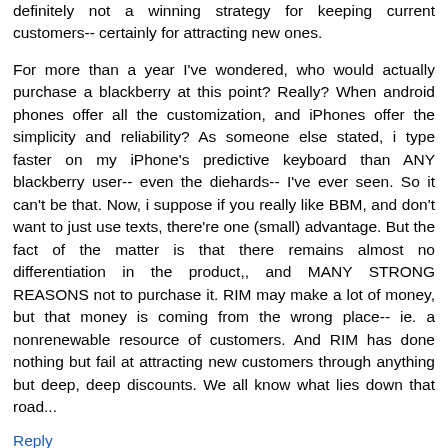definitely not a winning strategy for keeping current customers-- certainly for attracting new ones.
For more than a year I've wondered, who would actually purchase a blackberry at this point? Really? When android phones offer all the customization, and iPhones offer the simplicity and reliability? As someone else stated, i type faster on my iPhone's predictive keyboard than ANY blackberry user-- even the diehards-- I've ever seen. So it can't be that. Now, i suppose if you really like BBM, and don't want to just use texts, there're one (small) advantage. But the fact of the matter is that there remains almost no differentiation in the product,, and MANY STRONG REASONS not to purchase it. RIM may make a lot of money, but that money is coming from the wrong place-- ie. a nonrenewable resource of customers. And RIM has done nothing but fail at attracting new customers through anything but deep, deep discounts. We all know what lies down that road...
Reply